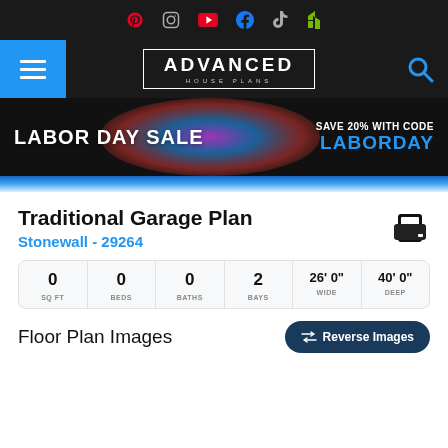Social media icons: Pinterest, Instagram, YouTube, Facebook, TikTok, Houzz
[Figure (logo): Advanced House Plans logo with navigation bar, hamburger menu on left and search icon on right]
[Figure (infographic): Labor Day Sale banner: LABOR DAY SALE - SAVE 20% WITH CODE LABORDAY]
Traditional Garage Plan
Stonewall - 29264
| SQ FT | BEDS | BATHS | BAYS | WIDE | DEEP |
| --- | --- | --- | --- | --- | --- |
| 0 | 0 | 0 | 2 | 26' 0" | 40' 0" |
Floor Plan Images
Reverse Images